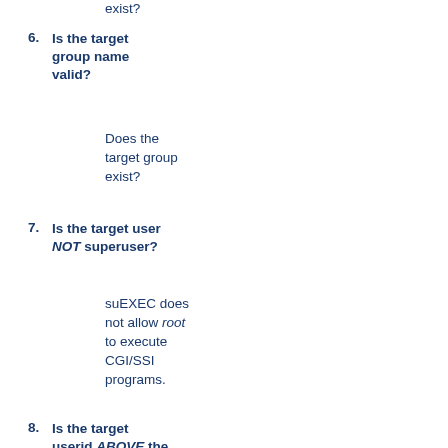exist?
6. Is the target group name valid?
Does the target group exist?
7. Is the target user NOT superuser?
suEXEC does not allow root to execute CGI/SSI programs.
8. Is the target userid ABOVE the minimum ID number?
The minimum user ID number is